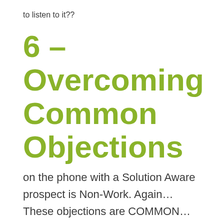to listen to it??
6 – Overcoming Common Objections
on the phone with a Solution Aware prospect is Non-Work. Again… These objections are COMMON… So why repeat them over and over instead of displaying them to the prospect before the call… Or better yet (pro tip) offering them to the